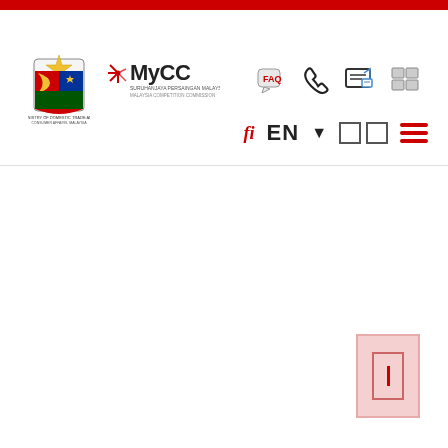MyCC - Malaysia Competition Commission website header with Ministry of Domestic Trade logo and navigation icons
[Figure (logo): Ministry of Domestic Trade crest logo on the left and MyCC (Suruhanjaya Persaingan Malaysia / Malaysia Competition Commission) logo on the right]
[Figure (infographic): Navigation icons: FAQ speech bubble, phone icon, message/feedback icon, menu/grid icon]
[Figure (infographic): Language and navigation bar: fi icon (red), EN language selector with dropdown arrow, two square buttons, hamburger menu (three red lines)]
[Figure (infographic): Scroll-to-top button at bottom right: pink/red bordered rectangle with inner rectangle and vertical line]